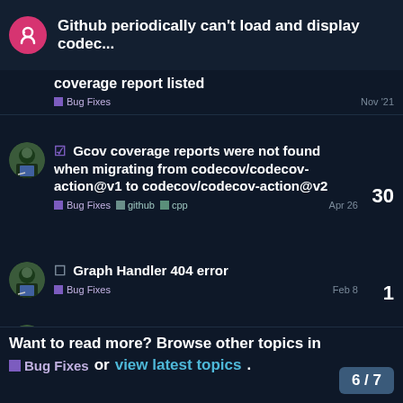Github periodically can't load and display codec...
coverage report listed
Bug Fixes
Nov '21
☑ Gcov coverage reports were not found when migrating from codecov/codecov-action@v1 to codecov/codecov-action@v2
Bug Fixes github cpp
Apr 26
30
☐ Graph Handler 404 error
Bug Fixes
Feb 8
1
☐ Inconsistent Docs on if_ci_failed
Bug Fixes
Jul 12
1
Want to read more? Browse other topics in
Bug Fixes or view latest topics.
6 / 7